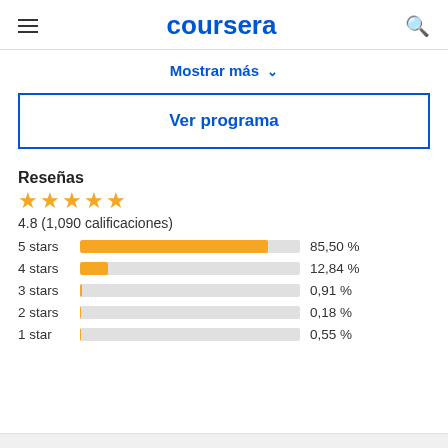coursera
Mostrar más ∨
Ver programa
Reseñas
[Figure (bar-chart): Rating distribution]